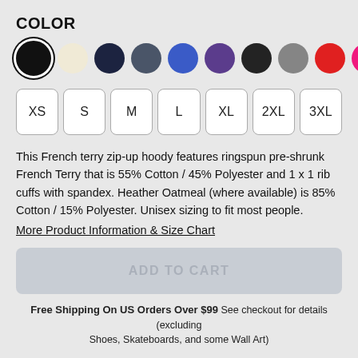COLOR
[Figure (other): Color swatch selector with 11 circular swatches: black (selected), cream, dark navy, slate gray, blue, purple, dark gray/black, gray, red, pink/magenta, green]
[Figure (other): Size selector buttons: XS, S, M, L, XL, 2XL, 3XL]
This French terry zip-up hoody features ringspun pre-shrunk French Terry that is 55% Cotton / 45% Polyester and 1 x 1 rib cuffs with spandex. Heather Oatmeal (where available) is 85% Cotton / 15% Polyester. Unisex sizing to fit most people.
More Product Information & Size Chart
ADD TO CART
Free Shipping On US Orders Over $99 See checkout for details (excluding Shoes, Skateboards, and some Wall Art)
About the Design
What delights and motivates you? Is it honorable? Take great